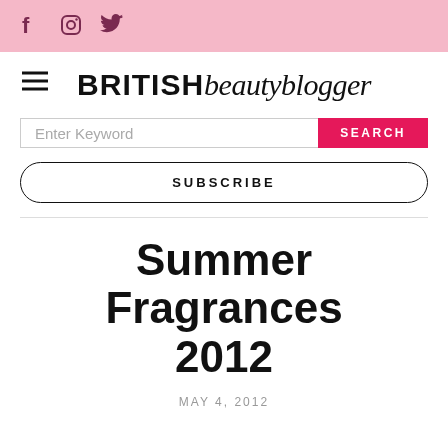f [instagram] [twitter] — social icons in pink bar
BRITISH beautyblogger
Enter Keyword  SEARCH
SUBSCRIBE
Summer Fragrances 2012
MAY 4, 2012